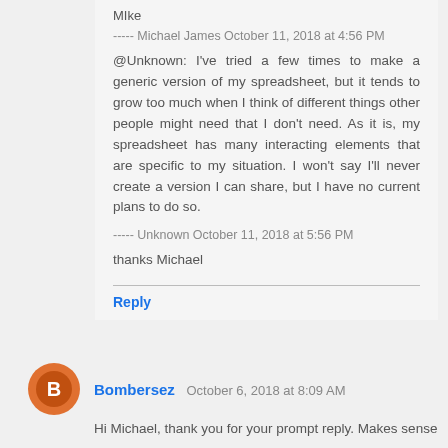MIke
----- Michael James October 11, 2018 at 4:56 PM
@Unknown: I've tried a few times to make a generic version of my spreadsheet, but it tends to grow too much when I think of different things other people might need that I don't need. As it is, my spreadsheet has many interacting elements that are specific to my situation. I won't say I'll never create a version I can share, but I have no current plans to do so.
----- Unknown October 11, 2018 at 5:56 PM
thanks Michael
Reply
Bombersez October 6, 2018 at 8:09 AM
Hi Michael, thank you for your prompt reply. Makes sense